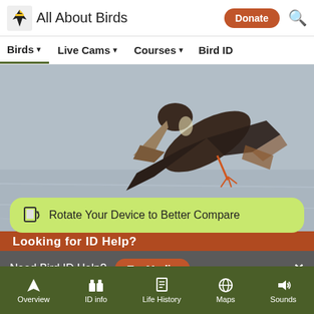All About Birds | Donate (button) | Search
Birds ▾  Live Cams ▾  Courses ▾  Bird ID
[Figure (photo): Brown Pelican photographed in flight, diving or flying low over water, seen from below showing underside and wingtips. Gray-blue water background.]
Brown Pelican
● ● ● ● ● (carousel dots, first active)
🔲 Rotate Your Device to Better Compare
Looking for ID Help?
Need Bird ID Help?  Try Merlin  ×
Overview  |  ID info  |  Life History  |  Maps  |  Sounds